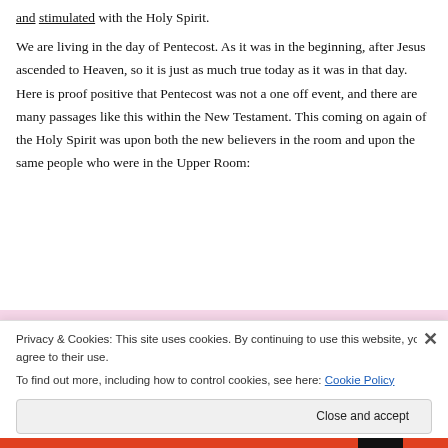and stimulated with the Holy Spirit.
We are living in the day of Pentecost. As it was in the beginning, after Jesus ascended to Heaven, so it is just as much true today as it was in that day. Here is proof positive that Pentecost was not a one off event, and there are many passages like this within the New Testament. This coming on again of the Holy Spirit was upon both the new believers in the room and upon the same people who were in the Upper Room:
[Figure (screenshot): Advertisement banner with pink background and a dark navy 'Start Today' button]
Privacy & Cookies: This site uses cookies. By continuing to use this website, you agree to their use.
To find out more, including how to control cookies, see here: Cookie Policy
Close and accept